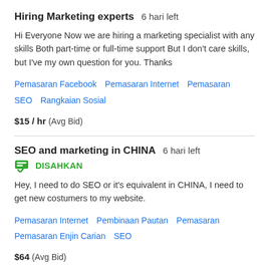Hiring Marketing experts  6 hari left
Hi Everyone Now we are hiring a marketing specialist with any skills Both part-time or full-time support But I don't care skills, but I've my own question for you. Thanks
Pemasaran Facebook   Pemasaran Internet   Pemasaran   SEO   Rangkaian Sosial
$15 / hr  (Avg Bid)
SEO and marketing in CHINA  6 hari left
DISAHKAN
Hey, I need to do SEO or it's equivalent in CHINA, I need to get new costumers to my website.
Pemasaran Internet   Pembinaan Pautan   Pemasaran   Pemasaran Enjin Carian   SEO
$64  (Avg Bid)